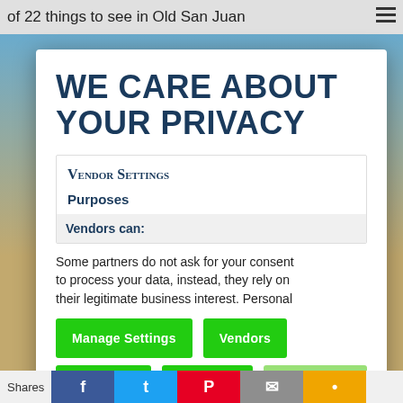of 22 things to see in Old San Juan
WE CARE ABOUT YOUR PRIVACY
Vendor Settings
Purposes
Vendors can:
Some partners do not ask for your consent to process your data, instead, they rely on their legitimate business interest. Personal
Manage Settings
Vendors
Accept All
Reject All
Save & Exit
Shares